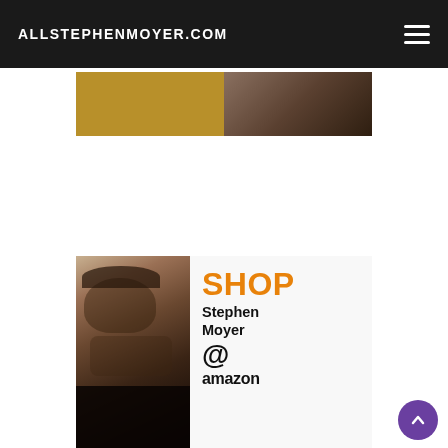ALLSTEPHENMOYER.COM
[Figure (screenshot): Partial top image strip showing a gold/brown bar and dark photo, cropped at the top of the content area]
[Figure (photo): Shop Stephen Moyer @ amazon promotional banner image with a photo of Stephen Moyer on the left and text 'SHOP Stephen Moyer @ amazon' on the right]